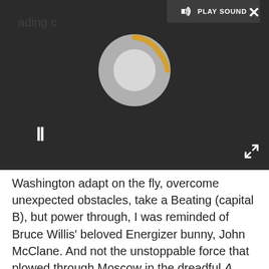[Figure (screenshot): Media player overlay with dark background showing a loading/spinning circle in grey and gold, a pause button (double vertical bars), a PLAY SOUND button in top bar, a close X button top right, and an expand arrows icon bottom right.]
Washington adapt on the fly, overcome unexpected obstacles, take a Beating (capital B), but power through, I was reminded of Bruce Willis' beloved Energizer bunny, John McClane. And not the unstoppable force that plowed through Moscow in the dreadful A Good Day to Die Hard. The vulnerable McClane from the first Die Hard, a noble soul who does the right thing because it is the right thing to do. An overmatched warrior who doesn't understand when to call it quits. A hero to which we can relate, even though they look suitably larger than life on that big screen.